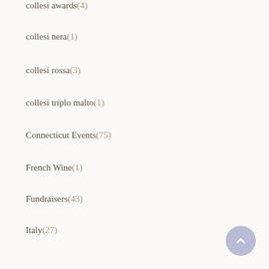collesi awards(4)
collesi nera(1)
collesi rossa(3)
collesi triplo malto(1)
Connecticut Events(75)
French Wine(1)
Fundraisers(43)
Italy(27)
organic(3)
Pairings(7)
Press(10)
Rated Wines(181)